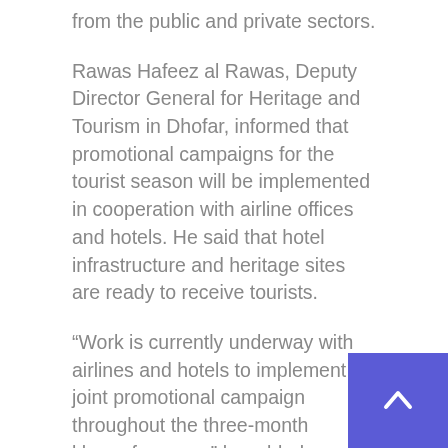from the public and private sectors.
Rawas Hafeez al Rawas, Deputy Director General for Heritage and Tourism in Dhofar, informed that promotional campaigns for the tourist season will be implemented in cooperation with airline offices and hotels. He said that hotel infrastructure and heritage sites are ready to receive tourists.
“Work is currently underway with airlines and hotels to implement a joint promotional campaign throughout the three-month khareef season,” he added.
According to Rawas, the ministry promotes the season by airing special reports on Dhofar through TV programs, as well as engaging Gulf and Arab influencers to promote the destination on social media.
Dhofar will also soon see the completion of the Al-Haffa waterfront development, a tourism and recreation landmark in Salalah. The first phase of the project